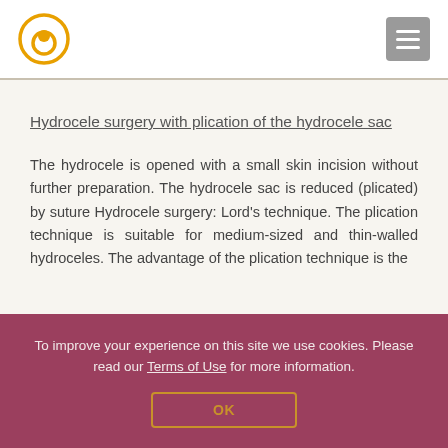Hydrocele surgery with plication of the hydrocele sac
The hydrocele is opened with a small skin incision without further preparation. The hydrocele sac is reduced (plicated) by suture Hydrocele surgery: Lord's technique. The plication technique is suitable for medium-sized and thin-walled hydroceles. The advantage of the plication technique is the
To improve your experience on this site we use cookies. Please read our Terms of Use for more information.
OK